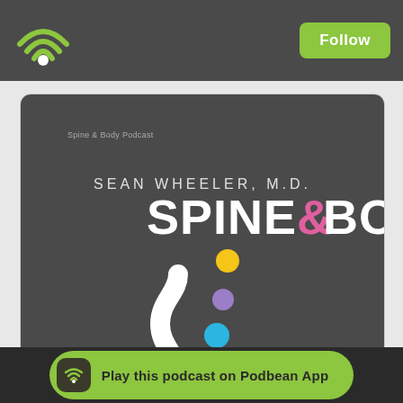[Figure (logo): Podbean wifi/signal logo icon in green on dark top bar]
Follow
[Figure (illustration): Spine & Body Podcast cover art showing SEAN WHEELER, M.D. SPINE&BODY text with white spine illustration and colored chakra dots on dark gray background]
Play this podcast on Podbean App